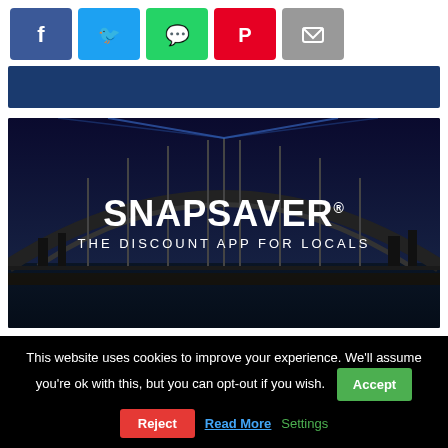[Figure (infographic): Social share buttons row: Facebook (blue), Twitter (light blue), WhatsApp (green), Pinterest (red), Email (gray)]
[Figure (photo): Dark blue banner/header strip]
[Figure (illustration): Snapsaver advertisement image showing a night cityscape with bridge arch and text: SNAPSAVER® THE DISCOUNT APP FOR LOCALS]
This website uses cookies to improve your experience. We'll assume you're ok with this, but you can opt-out if you wish.
Accept
Reject
Read More
Settings